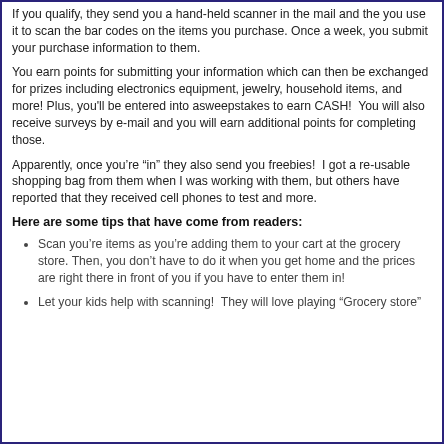If you qualify, they send you a hand-held scanner in the mail and the you use it to scan the bar codes on the items you purchase. Once a week, you submit your purchase information to them.
You earn points for submitting your information which can then be exchanged for prizes including electronics equipment, jewelry, household items, and more! Plus, you'll be entered into asweepstakes to earn CASH!  You will also receive surveys by e-mail and you will earn additional points for completing those.
Apparently, once you're “in” they also send you freebies!  I got a re-usable shopping bag from them when I was working with them, but others have reported that they received cell phones to test and more.
Here are some tips that have come from readers:
Scan you're items as you're adding them to your cart at the grocery store. Then, you don’t have to do it when you get home and the prices are right there in front of you if you have to enter them in!
Let your kids help with scanning!  They will love playing “Grocery store”